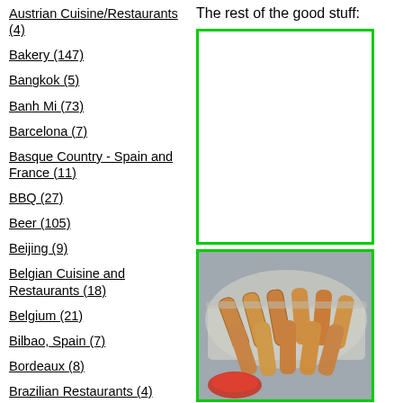Austrian Cuisine/Restaurants (4)
Bakery (147)
Bangkok (5)
Banh Mi (73)
Barcelona (7)
Basque Country - Spain and France (11)
BBQ (27)
Beer (105)
Beijing (9)
Belgian Cuisine and Restaurants (18)
Belgium (21)
Bilbao, Spain (7)
Bordeaux (8)
Brazilian Restaurants (4)
Breakfast (298)
British/Irish/Scottish Restaurants/Pubs (2)
Brussels (6)
The rest of the good stuff:
[Figure (other): White/empty green-bordered box]
[Figure (photo): Photo of spring rolls/egg rolls in a aluminum tray with dipping sauce]